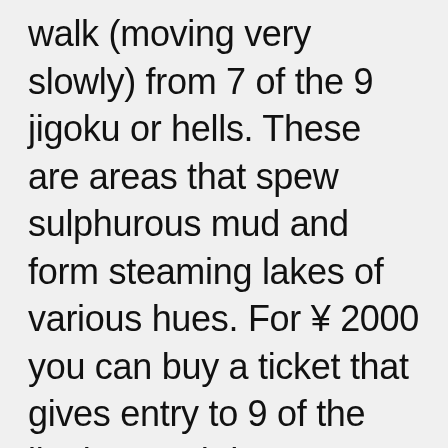walk (moving very slowly) from 7 of the 9 jigoku or hells. These are areas that spew sulphurous mud and form steaming lakes of various hues. For ¥ 2000 you can buy a ticket that gives entry to 9 of the jigoku. Each has something different. In some the main attraction is animals in hell. While not a fan of crocodiles, hell #5, Oniyama-Jigoku was hell to see. Like too many zoos and factory farms, animals spend their unbearable lives in overcrowded